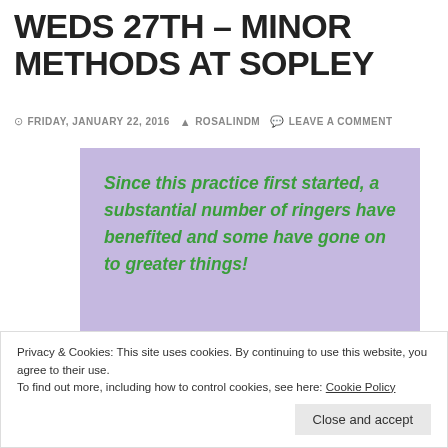WEDS 27TH – MINOR METHODS AT SOPLEY
FRIDAY, JANUARY 22, 2016  ROSALINDM  LEAVE A COMMENT
Since this practice first started, a substantial number of ringers have benefited and some have gone on to greater things!
Privacy & Cookies: This site uses cookies. By continuing to use this website, you agree to their use. To find out more, including how to control cookies, see here: Cookie Policy
Wednesday of the month.